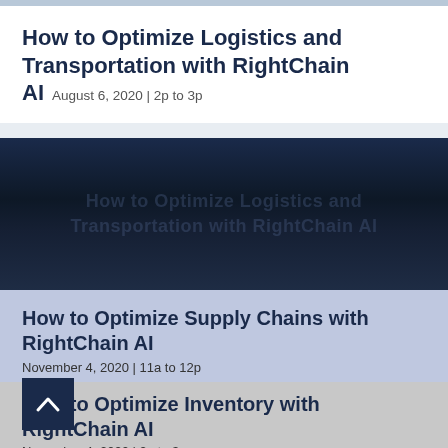How to Optimize Logistics and Transportation with RightChain AI   August 6, 2020 | 2p to 3p
[Figure (photo): Dark navy background image card, content partially obscured]
How to Optimize Supply Chains with RightChain AI   November 4, 2020 | 11a to 12p
How to Optimize Inventory with RightChain AI   November 4, 2020 | 2p to 3p